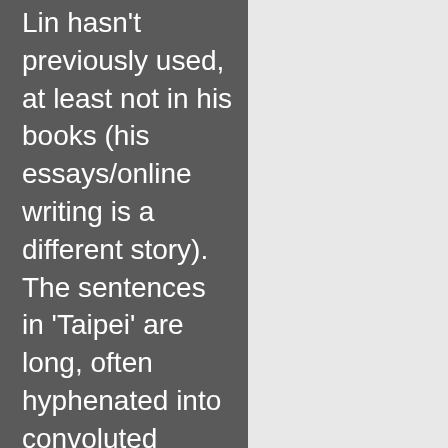Lin hasn't previously used, at least not in his books (his essays/online writing is a different story). The sentences in 'Taipei' are long, often hyphenated into convoluted